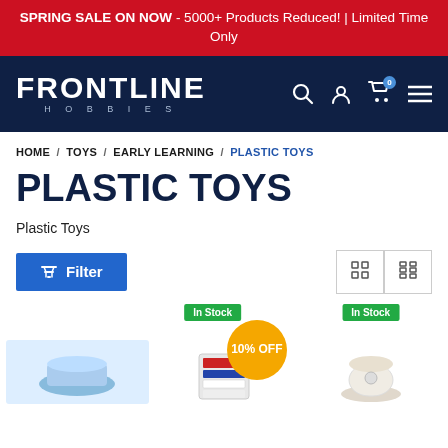SPRING SALE ON NOW - 5000+ Products Reduced! | Limited Time Only
[Figure (logo): Frontline Hobbies logo with navigation icons (search, account, cart, menu)]
HOME / TOYS / EARLY LEARNING / PLASTIC TOYS
PLASTIC TOYS
Plastic Toys
Filter
[Figure (screenshot): Product grid showing items with In Stock badges, 10% OFF discount badge, and partial product images at bottom of page]